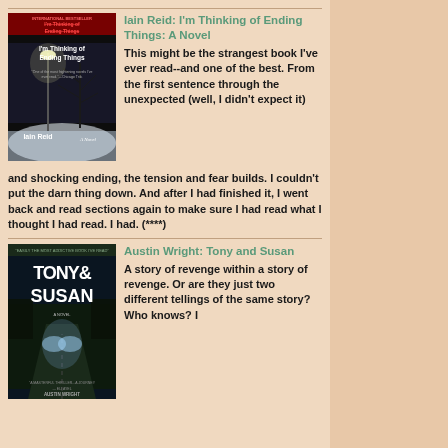[Figure (illustration): Book cover for 'I'm Thinking of Ending Things' by Iain Reid. Dark background with a snowy winter scene, a glowing street lamp, and a bare tree. Text reads 'I'm Thinking of Ending Things' in red at top, and 'Iain Reid' at bottom. 'A Novel' written in handwriting style.]
Iain Reid: I'm Thinking of Ending Things: A Novel
This might be the strangest book I've ever read--and one of the best. From the first sentence through the unexpected (well, I didn't expect it) and shocking ending, the tension and fear builds. I couldn't put the darn thing down. And after I had finished it, I went back and read sections again to make sure I had read what I thought I had read. I had. (****)
[Figure (illustration): Book cover for 'Tony and Susan' by Austin Wright. Dark teal/blue background with a night road scene and headlights coming toward the viewer. Large white text reads 'TONY & SUSAN' with author name and other text.]
Austin Wright: Tony and Susan
A story of revenge within a story of revenge. Or are they just two different tellings of the same story? Who knows? I